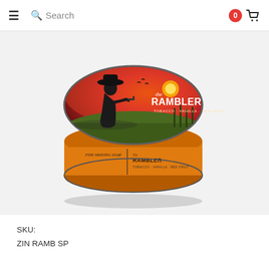≡  🔍 Search  [0] 🛒
[Figure (photo): A round shaving soap tin with lid. The lid features a sunset scene with a cowboy silhouette smoking a pipe, with orange/red sky and green fields. The label reads 'the RAMBLER - TOBACCO · VANILLA · RED FRUIT'. The side band is orange with black text 'The RAMBLER - TOBACCO · VANILLA · RED FRUIT' and 'FINE SHAVING SOAP'.]
SKU:
ZIN RAMB SP